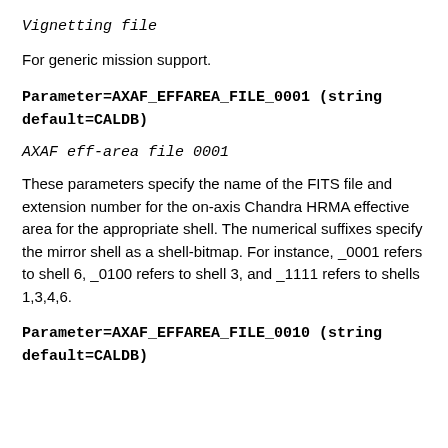Vignetting file
For generic mission support.
Parameter=AXAF_EFFAREA_FILE_0001 (string default=CALDB)
AXAF eff-area file 0001
These parameters specify the name of the FITS file and extension number for the on-axis Chandra HRMA effective area for the appropriate shell. The numerical suffixes specify the mirror shell as a shell-bitmap. For instance, _0001 refers to shell 6, _0100 refers to shell 3, and _1111 refers to shells 1,3,4,6.
Parameter=AXAF_EFFAREA_FILE_0010 (string default=CALDB)